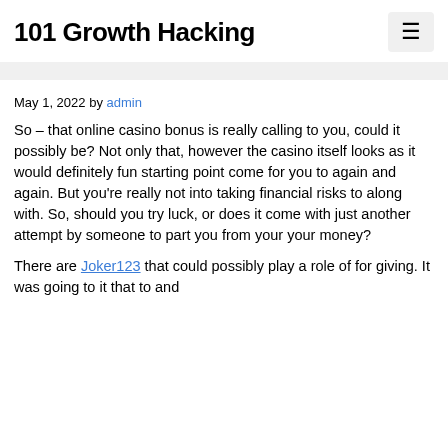101 Growth Hacking
May 1, 2022 by admin
So – that online casino bonus is really calling to you, could it possibly be? Not only that, however the casino itself looks as it would definitely fun starting point come for you to again and again. But you're really not into taking financial risks to along with. So, should you try luck, or does it come with just another attempt by someone to part you from your your money?
There are Joker123 that could possibly play a role of for giving. It was going to it that to and